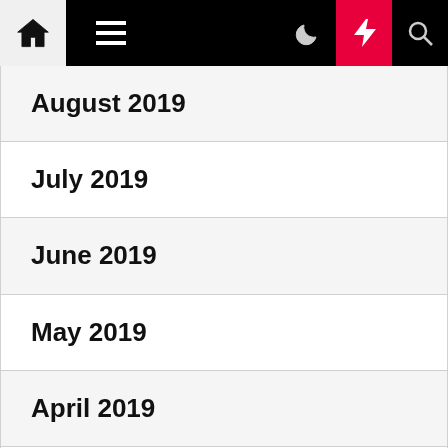Navigation bar with home, menu, moon, lightning, and search icons
August 2019
July 2019
June 2019
May 2019
April 2019
March 2019
February 2019
January 2019
December 2018
November 2018